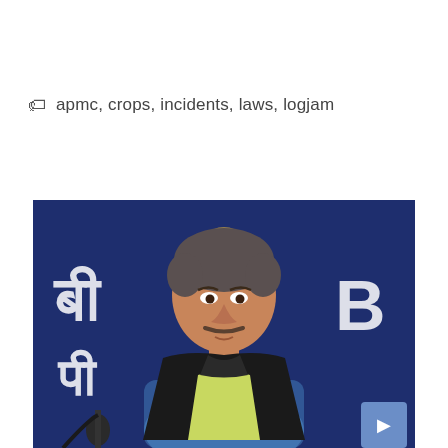apmc, crops, incidents, laws, logjam
[Figure (photo): A man wearing a black sleeveless jacket over a light yellow-green kurta, seated in a blue chair at what appears to be a press conference or official government event. Hindi/Devanagari text and a government emblem are visible in the dark blue background. A microphone is positioned in the lower left. A blue square button with an arrow icon is visible in the lower right corner of the image.]